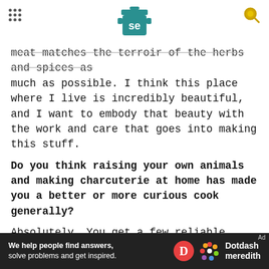Serious Eats
meat matches the terroir of the herbs and spices as much as possible. I think this place where I live is incredibly beautiful, and I want to embody that beauty with the work and care that goes into making this stuff.
Do you think raising your own animals and making charcuterie at home has made you a better or more curious cook generally?
Absolutely. You get a few reliable arrows in your quiver, and then it's a constant quest to find more esoteric recipes and processes. I just got a new cookbook that is all Spanish recipes, which means I
[Figure (other): Dotdash Meredith advertisement bar with text 'We help people find answers, solve problems and get inspired.' and Dotdash Meredith logo on dark background]